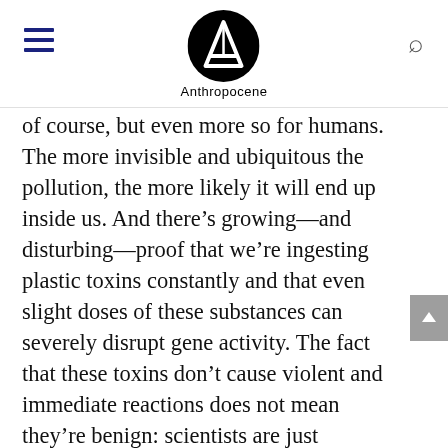Anthropocene
of course, but even more so for humans. The more invisible and ubiquitous the pollution, the more likely it will end up inside us. And there's growing—and disturbing—proof that we're ingesting plastic toxins constantly and that even slight doses of these substances can severely disrupt gene activity. The fact that these toxins don't cause violent and immediate reactions does not mean they're benign: scientists are just beginning to research the long-term ways